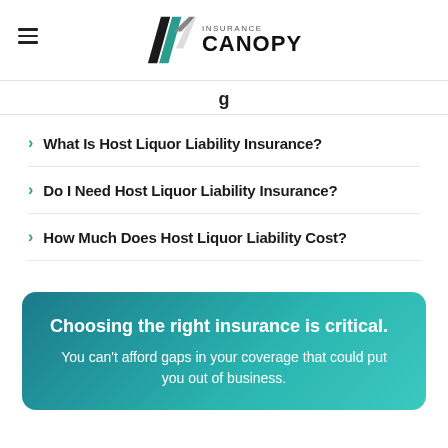[Figure (logo): Insurance Canopy logo with diagonal slash marks in black and teal, with text INSURANCE CANOPY]
What Is Host Liquor Liability Insurance?
Do I Need Host Liquor Liability Insurance?
How Much Does Host Liquor Liability Cost?
Choosing the right insurance is critical. You can't afford gaps in your coverage that could put you out of business.